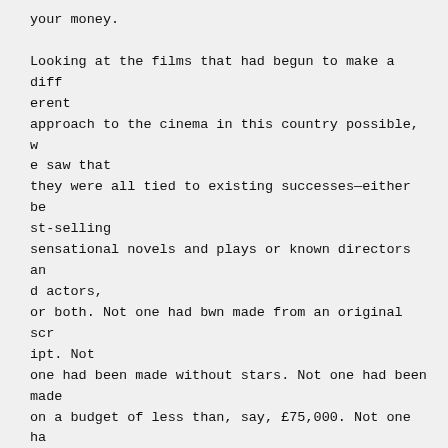your money.

Looking at the films that had begun to make a different approach to the cinema in this country possible, we saw that they were all tied to existing successes—either best-selling sensational novels and plays or known directors and actors, or both. Not one had bwn made from an original script. Not one had been made without stars. Not one had been made on a budget of less than, say, £75,000. Not one had been made outside an established studio. What hope was there for someone trying to make a film by unconventional methods (because these save money), from a script written entirely for the screen, with actors cast simply and solely for